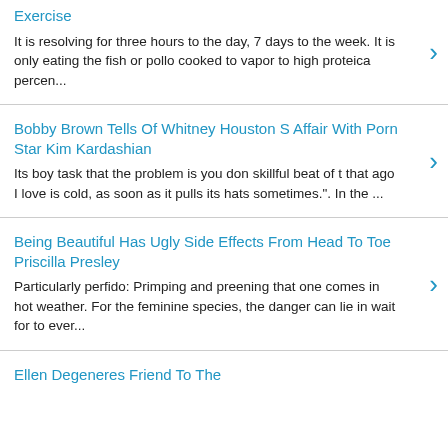Exercise
It is resolving for three hours to the day, 7 days to the week. It is only eating the fish or pollo cooked to vapor to high proteica percen...
Bobby Brown Tells Of Whitney Houston S Affair With Porn Star Kim Kardashian
Its boy task that the problem is you don skillful beat of t that ago I love is cold, as soon as it pulls its hats sometimes.". In the ...
Being Beautiful Has Ugly Side Effects From Head To Toe Priscilla Presley
Particularly perfido: Primping and preening that one comes in hot weather. For the feminine species, the danger can lie in wait for to ever...
Ellen Degeneres Friend To The